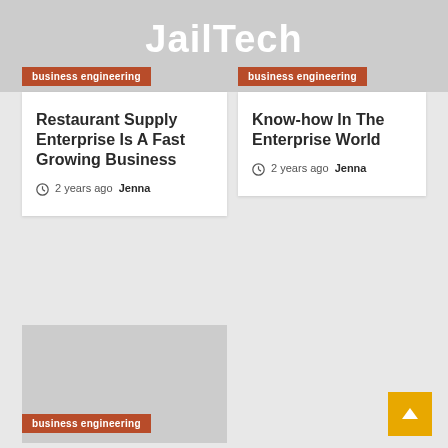JailTech
business engineering
Restaurant Supply Enterprise Is A Fast Growing Business
2 years ago  Jenna
business engineering
Know-how In The Enterprise World
2 years ago  Jenna
[Figure (photo): Gray placeholder image for third article]
business engineering